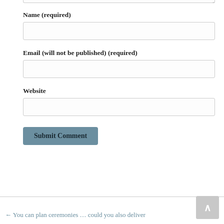Name (required)
[Figure (other): Text input field for Name]
Email (will not be published) (required)
[Figure (other): Text input field for Email]
Website
[Figure (other): Text input field for Website]
[Figure (other): Submit Comment button]
← You can plan ceremonies … could you also deliver